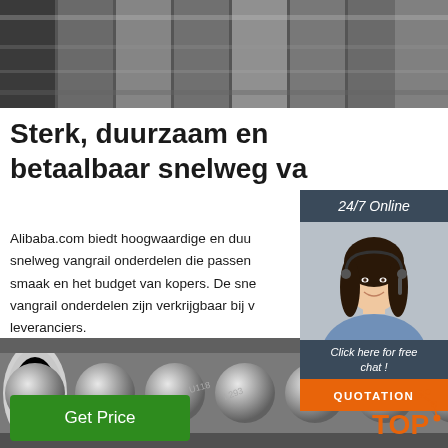[Figure (photo): Metal steel bars/ingots on dark background, top image]
Sterk, duurzaam en betaalbaar snelweg va
Alibaba.com biedt hoogwaardige en duu snelweg vangrail onderdelen die passen smaak en het budget van kopers. De sne vangrail onderdelen zijn verkrijgbaar bij v leveranciers.
[Figure (infographic): 24/7 Online chat sidebar with agent photo, 'Click here for free chat!' text, and QUOTATION button]
Get Price
[Figure (photo): Steel round bars/rods stacked together, bottom image, with TOP logo overlay]